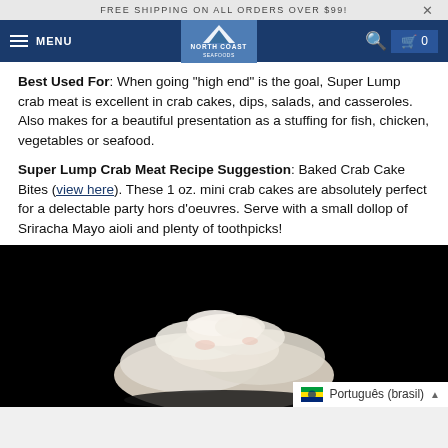FREE SHIPPING ON ALL ORDERS OVER $99!
Best Used For: When going "high end" is the goal, Super Lump crab meat is excellent in crab cakes, dips, salads, and casseroles. Also makes for a beautiful presentation as a stuffing for fish, chicken, vegetables or seafood.
Super Lump Crab Meat Recipe Suggestion: Baked Crab Cake Bites (view here). These 1 oz. mini crab cakes are absolutely perfect for a delectable party hors d'oeuvres. Serve with a small dollop of Sriracha Mayo aioli and plenty of toothpicks!
[Figure (photo): Close-up photo of Super Lump crab meat on a black background, showing white lumps of crab meat piled together.]